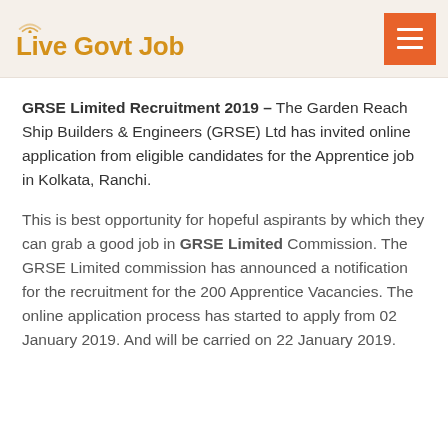Live Govt Job
GRSE Limited Recruitment 2019 – The Garden Reach Ship Builders & Engineers (GRSE) Ltd has invited online application from eligible candidates for the Apprentice job in Kolkata, Ranchi.
This is best opportunity for hopeful aspirants by which they can grab a good job in GRSE Limited Commission. The GRSE Limited commission has announced a notification for the recruitment for the 200 Apprentice Vacancies. The online application process has started to apply from 02 January 2019. And will be carried on 22 January 2019.